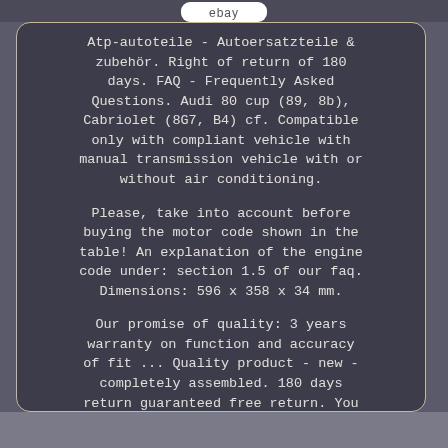ebay
Atp-autoteile - Autoersatzteile & zubehör. Right of return of 180 days. FAQ - Frequently Asked Questions. Audi 80 cup (89, 8b), Cabriolet (8G7, B4) cf. Compatible only with compliant vehicle with manual transmission vehicle with or without air conditioning.
Please, take into account before buying the motor code shown in the table! An explanation of the engine code under: section 1.5 of our faq. Dimensions: 596 x 358 x 34 mm.
Our promise of quality: 3 years warranty on function and accuracy of fit ... Quality product - new - completely assembled. 180 days return guaranteed free return. You will find our return policy in our information for customers. Note the restrictions indicated in the